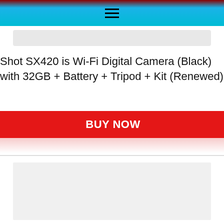[Figure (screenshot): Navigation bar with hamburger menu icon on cyan/blue gradient background]
[Figure (screenshot): Search bar placeholder (light grey rounded rectangle)]
Shot SX420 is Wi-Fi Digital Camera (Black) with 32GB + Battery + Tripod + Kit (Renewed)
[Figure (screenshot): Red BUY NOW button]
[Figure (screenshot): Product image placeholder (light grey rectangle)]